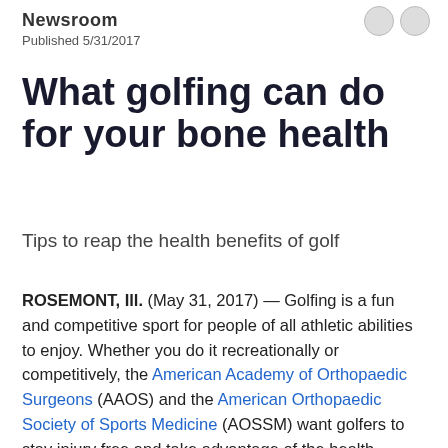Newsroom
Published 5/31/2017
What golfing can do for your bone health
Tips to reap the health benefits of golf
ROSEMONT, Ill. (May 31, 2017) — Golfing is a fun and competitive sport for people of all athletic abilities to enjoy. Whether you do it recreationally or competitively, the American Academy of Orthopaedic Surgeons (AAOS) and the American Orthopaedic Society of Sports Medicine (AOSSM) want golfers to stay injury free and take advantage of the health benefits of the sport.